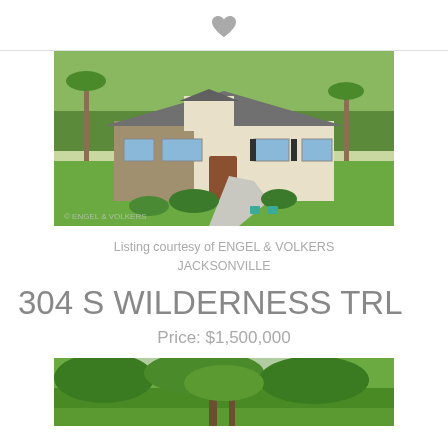[Figure (photo): Heart icon at top center of page]
[Figure (photo): Exterior photo of a single-story home with stone and light siding, large front lawn and gravel driveway, surrounded by trees]
Listing courtesy of ENGEL & VOLKERS JACKSONVILLE
304 S WILDERNESS TRL
Price: $1,500,000
[Figure (photo): Partial photo of a property with dense green trees]